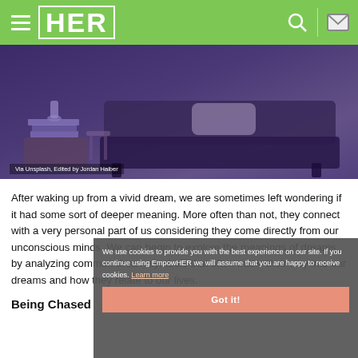HER
[Figure (photo): Interior room photo showing a sofa/couch with books on a wooden table, purple/violet toned, edited image]
Via Unsplash, Edited by Jordan Haiber
After waking up from a vivid dream, we are sometimes left wondering if it had some sort of deeper meaning. More often than not, they connect with a very personal part of us considering they come directly from our unconscious minds. We can begin to explore the meanings of dreams by analyzing common dream symbols that often make their way into our dreams and how they relate to our lives.
Being Chased
We use cookies to provide you with the best experience on our site. If you continue using EmpowHER we will assume that you are happy to receive cookies. Learn more
Got it!